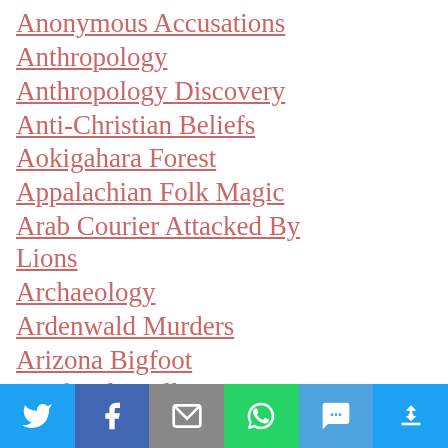Anonymous Accusations
Anthropology
Anthropology Discovery
Anti-Christian Beliefs
Aokigahara Forest
Appalachian Folk Magic
Arab Courier Attacked By Lions
Archaeology
Ardenwald Murders
Arizona Bigfoot
Artificial Intelligence
Asch Building
Assassin
Atacama Mummy
Attacked In A Cemetery
Auckland
[Figure (other): Social sharing bar with icons for Twitter, Facebook, Email, WhatsApp, SMS, and More]